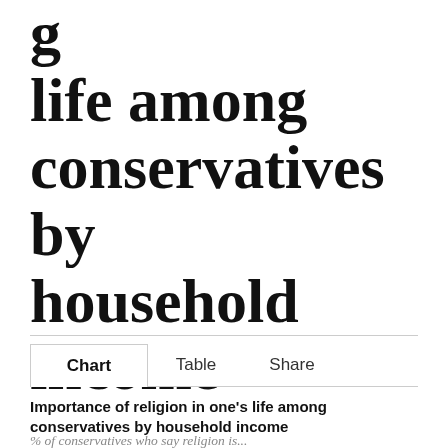life among conservatives by household income
Chart  Table  Share
[Figure (other): Tab bar with Chart (selected), Table, Share options]
Importance of religion in one's life among conservatives by household income
% of conservatives who say religion is...
Very important
Somewhat important
Not too important